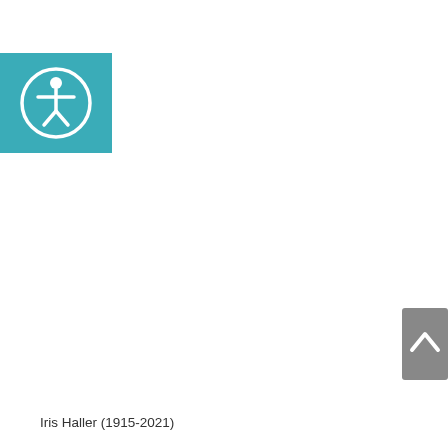[Figure (logo): Teal/turquoise square button with a white accessibility icon (person with arms outstretched in a circle) — a web accessibility widget button]
[Figure (other): Gray scroll-to-top button with a white upward chevron arrow, partially visible at right edge]
Iris Haller (1915-2021)